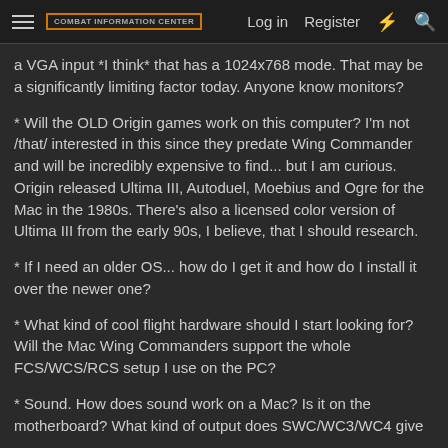Combat Information Center — Log in  Register
a VGA input *I think* that has a 1024x768 mode. That may be a significantly limiting factor today. Anyone know monitors?
* Will the OLD Origin games work on this computer? I'm not /that/ interested in this since they predate Wing Commander and will be incredibly expensive to find... but I am curious. Origin released Ultima III, Autoduel, Moebius and Ogre for the Mac in the 1980s. There's also a licensed color version of Ultima III from the early 90s, I believe, that I should research.
* If I need an older OS... how do I get it and how do I install it over the newer one?
* What kind of cool flight hardware should I start looking for? Will the Mac Wing Commanders support the whole FCS/WCS/RCS setup I use on the PC?
* Sound. How does sound work on a Mac? Is it on the motherboard? What kind of output does SWC/WC3/WC4 give